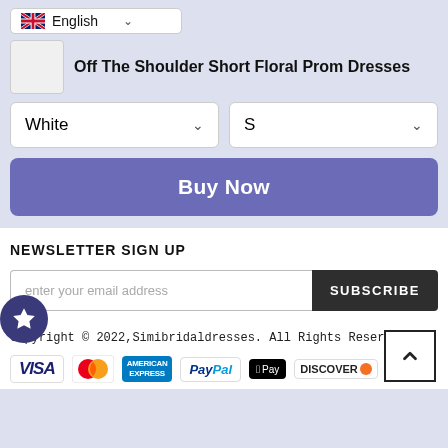[Figure (screenshot): Language selector dropdown showing UK flag and 'English' with chevron]
Off The Shoulder Short Floral Prom Dresses
White (color dropdown)
S (size dropdown)
Buy Now
NEWSLETTER SIGN UP
enter your email address
SUBSCRIBE
Copyright © 2022,Simibridaldresses. All Rights Reserved.
[Figure (logo): Payment method icons: VISA, MasterCard, American Express, PayPal, Apple Pay, Discover, JCB]